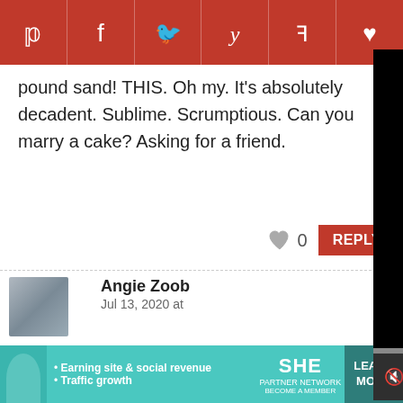[Figure (other): Social sharing bar with Pinterest, Facebook, Twitter, Yummly, Flipboard, and heart/save icons in red]
pound sand! THIS. Oh my. It's absolutely decadent. Sublime. Scrumptious. Can you marry a cake? Asking for a friend.
0 REPLY
Angie Zoob
Jul 13, 2020 at
Kristen, thank you my day. I love it! A this cake as much sharing this with us.
[Figure (screenshot): Video player overlay showing black screen with play button and controls showing 01:03 timestamp]
[Figure (infographic): Advertisement banner for SHE Partner Network with bullet points: Earning site & social revenue, Traffic growth, LEARN MORE button]